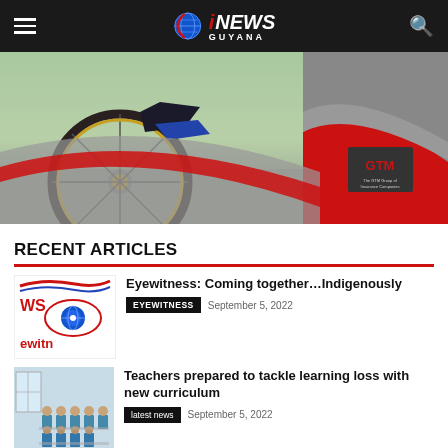iNEWS GUYANA
[Figure (photo): Cycling race photo with GTM sponsor banner - shows bicycle wheel and cyclist's legs on road, with red and grey curved design overlay and GTM logo]
RECENT ARTICLES
[Figure (logo): Eyewitness News logo with eye graphic containing globe, red and blue swoosh marks, text 'WS' and 'ewitn']
Eyewitness: Coming together…Indigenously
EYEWITNESS   September 5, 2022
[Figure (photo): Classroom photo showing students in blue uniforms seated at desks]
Teachers prepared to tackle learning loss with new curriculum
latest news   September 5, 2022